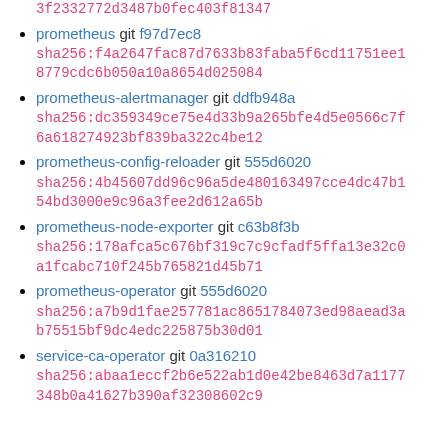3f2332772d3487b0fec403f81347
prometheus git f97d7ec8
sha256:f4a2647fac87d7633b83faba5f6cd11751ee18779cdc6b050a10a8654d025084
prometheus-alertmanager git ddfb948a
sha256:dc359349ce75e4d33b9a265bfe4d5e0566c7f6a618274923bf839ba322c4be12
prometheus-config-reloader git 555d6020
sha256:4b45607dd96c96a5de480163497cce4dc47b154bd3000e9c96a3fee2d612a65b
prometheus-node-exporter git c63b8f3b
sha256:178afca5c676bf319c7c9cfadf5ffa13e32c0a1fcabc710f245b765821d45b71
prometheus-operator git 555d6020
sha256:a7b9d1fae257781ac8651784073ed98aead3ab75515bf9dc4edc225875b30d01
service-ca-operator git 0a316210
sha256:abaa1eccf2b6e522ab1d0e42be8463d7a1177348b0a41627b390af32308602c9